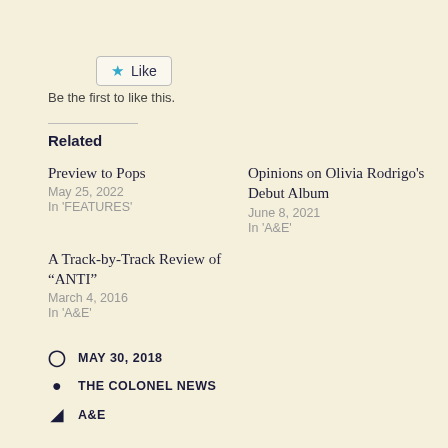[Figure (other): Like button with star icon]
Be the first to like this.
Related
Preview to Pops
May 25, 2022
In 'FEATURES'
Opinions on Olivia Rodrigo's Debut Album
June 8, 2021
In 'A&E'
A Track-by-Track Review of “ANTI”
March 4, 2016
In 'A&E'
MAY 30, 2018
THE COLONEL NEWS
A&E